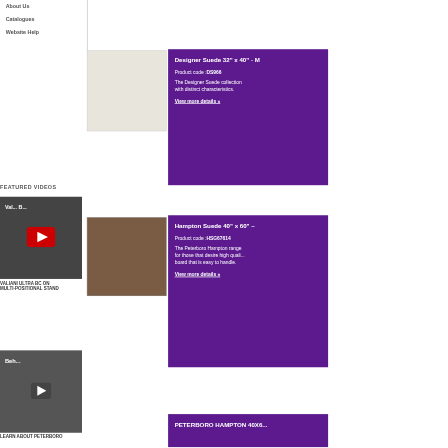About Us
Catalogues
Website Help
FEATURED VIDEOS
[Figure (photo): Light cream/off-white fabric swatch for Designer Suede product]
Designer Suede 32" x 40" - M
Product code: DS966
The Designer Suede collection with distinct characteristics.
View more details »
[Figure (photo): Brown suede fabric swatch for Hampton Suede product]
Hampton Suede 40" x 60" -
Product code: HSG67614
The Peterboro Hampton range for those that desire high quality board that is easy to handle.
View more details »
[Figure (screenshot): YouTube video thumbnail - Valiani Ultra BC on Multi-Positional Stand]
VALIANI ULTRA BC ON MULTI-POSITIONAL STAND
[Figure (screenshot): Video thumbnail - Behind the scenes / Learn About Peterboro]
LEARN ABOUT PETERBORO
PETERBORO HAMPTON 40X6...